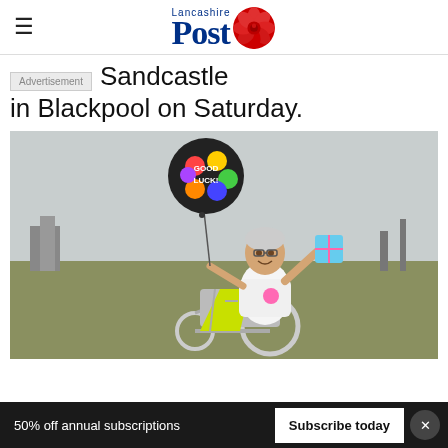Lancashire Post
Advertisement
Sandcastle in Blackpool on Saturday.
[Figure (photo): A woman in a wheelchair holding a 'Good Luck!' balloon in one hand and a small card/gift in the other, wearing a white t-shirt with a logo. A yellow high-visibility vest hangs on the wheelchair. She is outdoors on a grassy area with a flat landscape behind her.]
50% off annual subscriptions   Subscribe today   ×